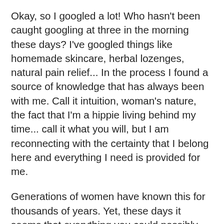Okay, so I googled a lot! Who hasn't been caught googling at three in the morning these days? I've googled things like homemade skincare, herbal lozenges, natural pain relief... In the process I found a source of knowledge that has always been with me. Call it intuition, woman's nature, the fact that I'm a hippie living behind my time... call it what you will, but I am reconnecting with the certainty that I belong here and everything I need is provided for me.
Generations of women have known this for thousands of years. Yet, these days it seems that everything you could possibly want is available at the nearest pharmacy, supermarket, box store & even via the internet. Generations of women have forgotten what they were born with. Everything is processed by some other guy now, so why would you need to know how to make it? Because that "other guy" really does not care about your welfare.
I choose to live a conscious lifestyle. I am a new born naturalist ready to spread my wings with the help of the greatest resources on line... My blog idols!! In just a few months I have absorbed so much useful, interesting...